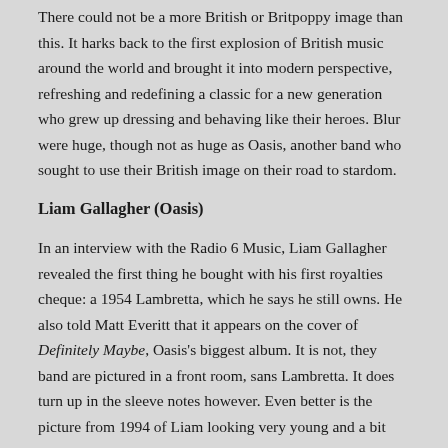There could not be a more British or Britpoppy image than this. It harks back to the first explosion of British music around the world and brought it into modern perspective, refreshing and redefining a classic for a new generation who grew up dressing and behaving like their heroes. Blur were huge, though not as huge as Oasis, another band who sought to use their British image on their road to stardom.
Liam Gallagher (Oasis)
In an interview with the Radio 6 Music, Liam Gallagher revealed the first thing he bought with his first royalties cheque: a 1954 Lambretta, which he says he still owns. He also told Matt Everitt that it appears on the cover of Definitely Maybe, Oasis's biggest album. It is not, they band are pictured in a front room, sans Lambretta. It does turn up in the sleeve notes however. Even better is the picture from 1994 of Liam looking very young and a bit